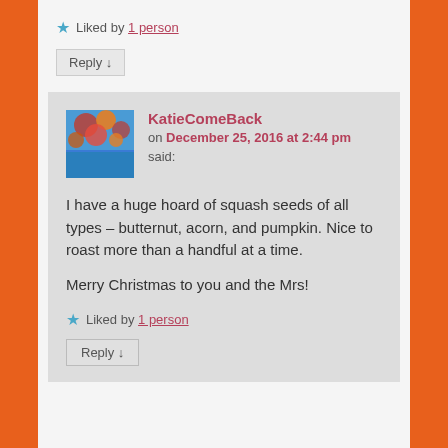★ Liked by 1 person
Reply ↓
KatieComeBack on December 25, 2016 at 2:44 pm said:
I have a huge hoard of squash seeds of all types – butternut, acorn, and pumpkin. Nice to roast more than a handful at a time.

Merry Christmas to you and the Mrs!
★ Liked by 1 person
Reply ↓